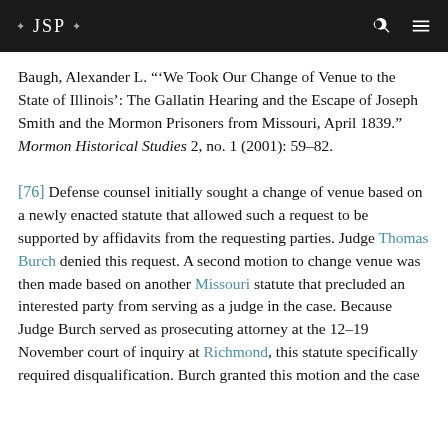JSP
Baugh, Alexander L. “‘We Took Our Change of Venue to the State of Illinois’: The Gallatin Hearing and the Escape of Joseph Smith and the Mormon Prisoners from Missouri, April 1839.” Mormon Historical Studies 2, no. 1 (2001): 59–82.
[76] Defense counsel initially sought a change of venue based on a newly enacted statute that allowed such a request to be supported by affidavits from the requesting parties. Judge Thomas Burch denied this request. A second motion to change venue was then made based on another Missouri statute that precluded an interested party from serving as a judge in the case. Because Judge Burch served as prosecuting attorney at the 12–19 November court of inquiry at Richmond, this statute specifically required disqualification. Burch granted this motion and the case